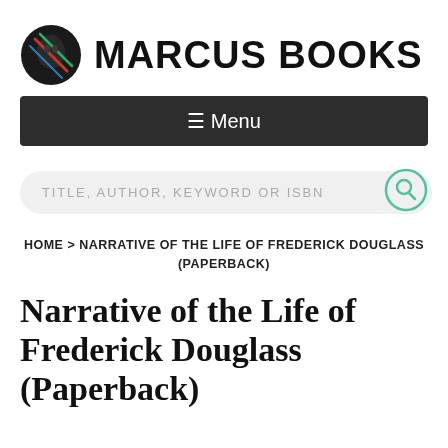MARCUS BOOKS
☰ Menu
TITLE, AUTHOR, KEYWORD OR ISBN
HOME > NARRATIVE OF THE LIFE OF FREDERICK DOUGLASS (PAPERBACK)
Narrative of the Life of Frederick Douglass (Paperback)